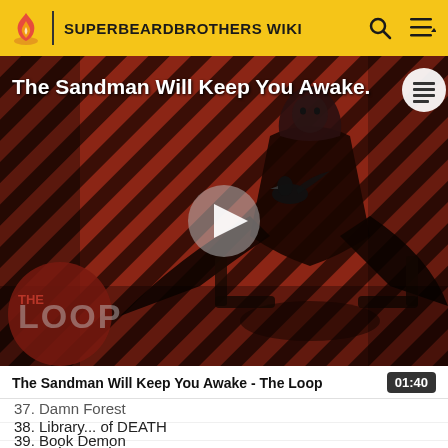SUPERBEARDBROTHERS WIKI
[Figure (screenshot): Video thumbnail for 'The Sandman Will Keep You Awake - The Loop'. Shows a man in black clothing against a red and black diagonal striped background. 'THE LOOP' text visible at bottom left. A play button is centered on the image.]
The Sandman Will Keep You Awake - The Loop   01:40
37. Damn Forest
38. Library... of DEATH
39. Book Demon
40. Doing our best!